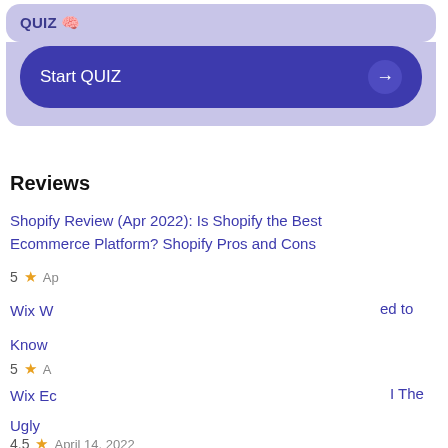QUIZ 🧠
Start QUIZ →
Reviews
Shopify Review (Apr 2022): Is Shopify the Best Ecommerce Platform? Shopify Pros and Cons
5 ★ Ap...
Wix W... ed to Know
5 ★ A...
Wix Ec... I The Ugly
4.5 ★ April 14, 2022
[Figure (screenshot): Cookie consent popup dialog with yellow background. Text reads: 'This website uses cookies to ensure you get the best experience.' Two buttons: 'Learn more' (outlined) and 'OK' (dark olive/green filled).]